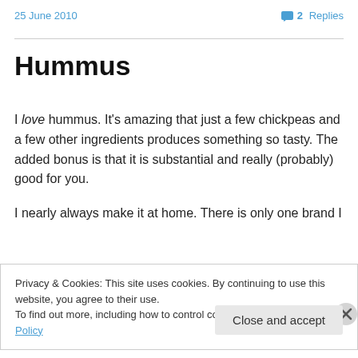25 June 2010   💬 2 Replies
Hummus
I love hummus. It's amazing that just a few chickpeas and a few other ingredients produces something so tasty. The added bonus is that it is substantial and really (probably) good for you.
I nearly always make it at home. There is only one brand I
Privacy & Cookies: This site uses cookies. By continuing to use this website, you agree to their use.
To find out more, including how to control cookies, see here: Cookie Policy